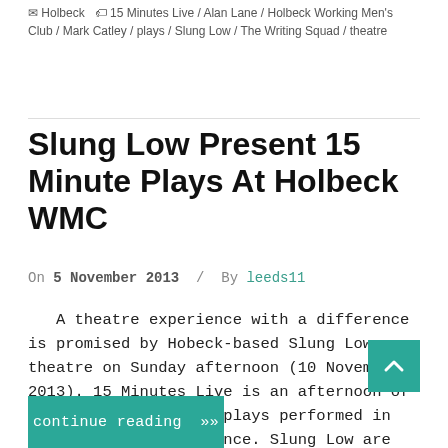Holbeck  15 Minutes Live / Alan Lane / Holbeck Working Men's Club / Mark Catley / plays / Slung Low / The Writing Squad / theatre
Slung Low Present 15 Minute Plays At Holbeck WMC
On 5 November 2013 / By leeds11
A theatre experience with a difference is promised by Hobeck-based Slung Low theatre on Sunday afternoon (10 November 2013). 15 Minutes Live is an afternoon of short dramas – radio plays performed in front of a live audience. Slung Low are collaborating with The Writing Squad to present new
continue reading »